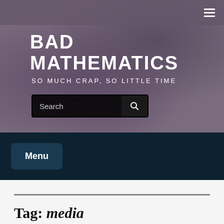BAD MATHEMATICS — SO MUCH CRAP, SO LITTLE TIME
BAD MATHEMATICS
SO MUCH CRAP, SO LITTLE TIME
Search
Menu
Tag: media